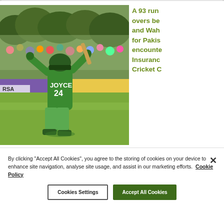[Figure (photo): Cricket player wearing green jersey number 24 (JOYCE) raising bat and helmet toward crowd in celebration, on a cricket field with spectators and RSA Insurance advertising boards in background]
A 93 run partnership over overs between Joyce and Wah... for Pakis... encounter... Insurance... Cricket C...
By clicking "Accept All Cookies", you agree to the storing of cookies on your device to enhance site navigation, analyse site usage, and assist in our marketing efforts. Cookie Policy
Cookies Settings
Accept All Cookies